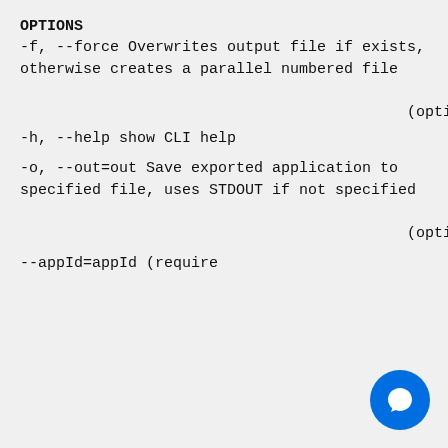OPTIONS
-f, --force                              Overwrites output file if exists, otherwise creates a parallel numbered file

                                           (optional)
-h, --help                               show CLI help
-o, --out=out                            Save exported application to specified file, uses STDOUT if not specified

                                           (optional)
--appId=appId                            (require